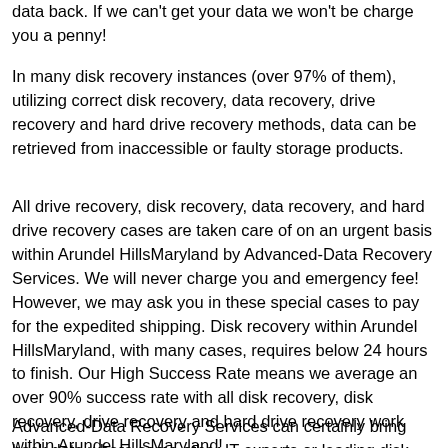data back. If we can't get your data we won't be charge you a penny!
In many disk recovery instances (over 97% of them), utilizing correct disk recovery, data recovery, drive recovery and hard drive recovery methods, data can be retrieved from inaccessible or faulty storage products.
All drive recovery, disk recovery, data recovery, and hard drive recovery cases are taken care of on an urgent basis within Arundel HillsMaryland by Advanced-Data Recovery Services. We will never charge you and emergency fee! However, we may ask you in these special cases to pay for the expedited shipping. Disk recovery within Arundel HillsMaryland, with many cases, requires below 24 hours to finish. Our High Success Rate means we average an over 90% success rate with all disk recovery, disk recovery, drive recovery and hard drive recovery work within Arundel HillsMaryland!
Advanced-Data Recovery Services can certainly bring back data where some other IT experts or leading disk recovery